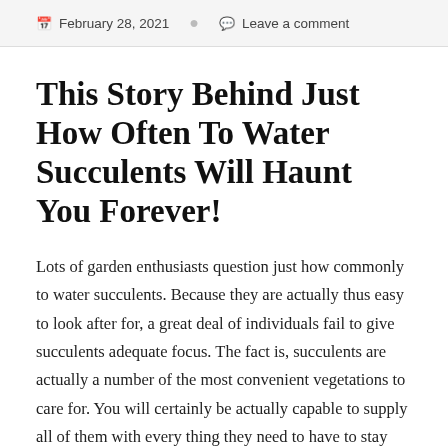February 28, 2021   Leave a comment
This Story Behind Just How Often To Water Succulents Will Haunt You Forever!
Lots of garden enthusiasts question just how commonly to water succulents. Because they are actually thus easy to look after for, a great deal of individuals fail to give succulents adequate focus. The fact is, succulents are actually a number of the most convenient vegetations to care for. You will certainly be actually capable to supply all of them with every thing they need to have to stay well-balanced as soon as you recognize their